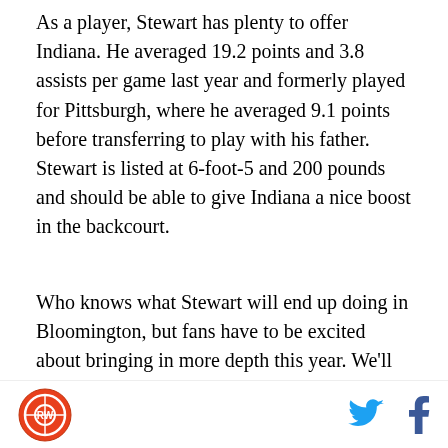As a player, Stewart has plenty to offer Indiana. He averaged 19.2 points and 3.8 assists per game last year and formerly played for Pittsburgh, where he averaged 9.1 points before transferring to play with his father. Stewart is listed at 6-foot-5 and 200 pounds and should be able to give Indiana a nice boost in the backcourt.
Who knows what Stewart will end up doing in Bloomington, but fans have to be excited about bringing in more depth this year. We'll have to stay tuned and see how things go.
[Figure (other): DraftKings Sportsbook 'Bet Now!' green banner advertisement with logo]
To win National Championship
[Figure (logo): Rotowire circular logo in bottom left corner, with Twitter and Facebook social media icons on the right]